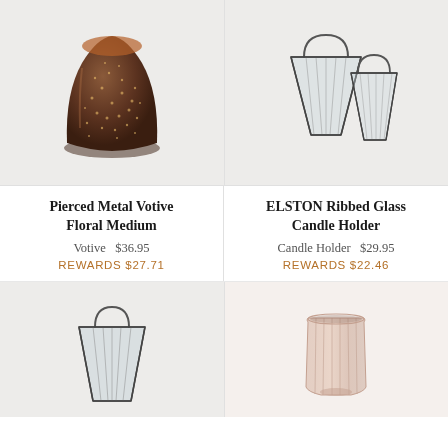[Figure (photo): Pierced metal votive with floral cutout pattern, dark bronze color, on light grey background]
[Figure (photo): Two ELSTON ribbed glass candle holders with metal wire handles, geometric frame design, on light grey background]
Pierced Metal Votive Floral Medium
Votive  $36.95
REWARDS $27.71
ELSTON Ribbed Glass Candle Holder
Candle Holder  $29.95
REWARDS $22.46
[Figure (photo): Single ELSTON ribbed glass candle holder with metal wire handle, on light grey background]
[Figure (photo): Ribbed glass votive/candle holder in pale pink/blush, on white background]